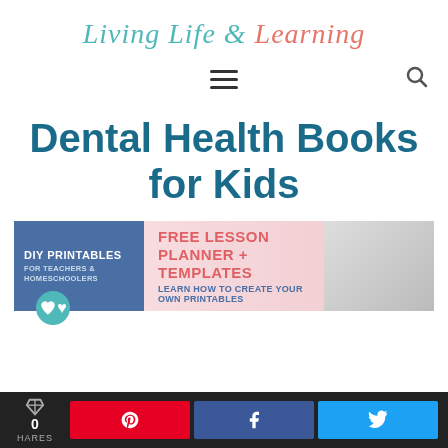Living Life & Learning
[Figure (other): Hamburger menu icon (three horizontal lines) and search icon]
Dental Health Books for Kids
[Figure (infographic): Banner advertisement: DIY Printables for Teachers & Homeschoolers - Free Lesson Planner + Templates, Learn How to Create Your Own Printables]
0 SHARES | Pinterest | Facebook | Twitter share buttons